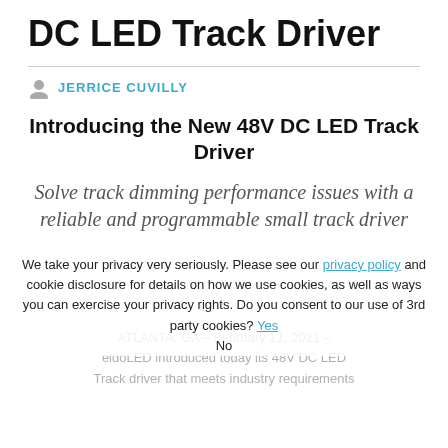DC LED Track Driver
JERRICE CUVILLY
Introducing the New 48V DC LED Track Driver
Solve track dimming performance issues with a reliable and programmable small track driver
We take your privacy very seriously. Please see our privacy policy and cookie disclosure for details on how we use cookies, as well as ways you can exercise your privacy rights. Do you consent to our use of 3rd party cookies? Yes No
ATLANTA, GA – February 11, 2021 – eldoLED introduced today its 48V DC LED Track driver that meets industry requirements